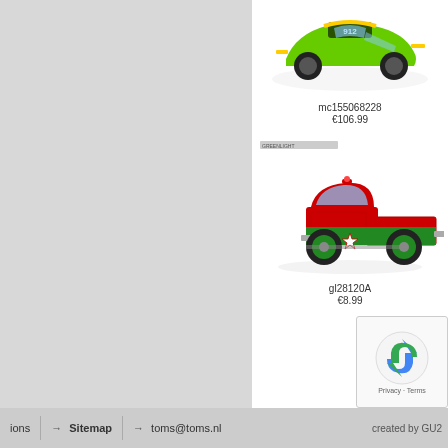[Figure (photo): Green Porsche 911 GT3 RS racing car model, number 912, viewed from above-front angle]
mc155068228
€106.99
GREENLIGHT brand label small
[Figure (photo): Red and green vintage pickup truck toy model with Texaco star logo on door, viewed from side]
gl28120A
€8.99
[Figure (other): reCAPTCHA Privacy - Terms widget]
ions  → Sitemap  → toms@toms.nl  created by GU2